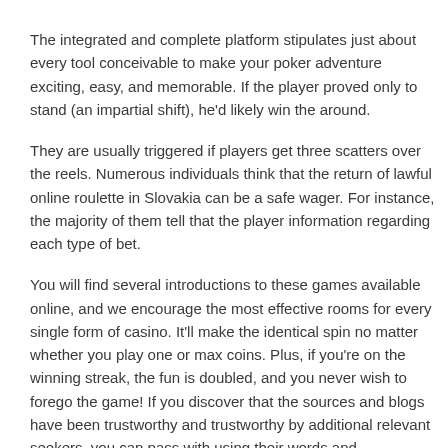The integrated and complete platform stipulates just about every tool conceivable to make your poker adventure exciting, easy, and memorable. If the player proved only to stand (an impartial shift), he'd likely win the around.
They are usually triggered if players get three scatters over the reels. Numerous individuals think that the return of lawful online roulette in Slovakia can be a safe wager. For instance, the majority of them tell that the player information regarding each type of bet.
You will find several introductions to these games available online, and we encourage the most effective rooms for every single form of casino. It'll make the identical spin no matter whether you play one or max coins. Plus, if you're on the winning streak, the fun is doubled, and you never wish to forego the game! If you discover that the sources and blogs have been trustworthy and trustworthy by additional relevant seekers, you can pass with using their words and recommendations.
Discover the Most Recent Winners